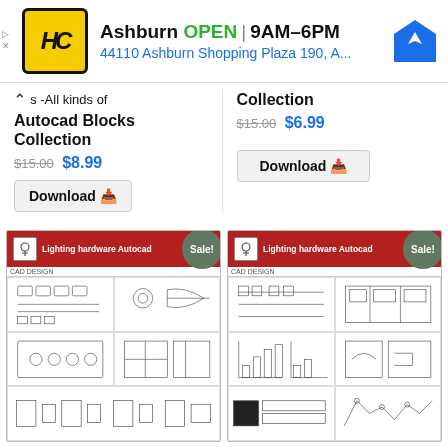[Figure (infographic): Ad banner: HC logo, Ashburn OPEN 9AM-6PM, 44110 Ashburn Shopping Plaza 190, A..., navigation icon]
s -All kinds of Autocad Blocks Collection $15.00 $8.99
Collection $15.00 $6.99
Download ⬇
Download ⬇
[Figure (screenshot): Lighting hardware Autocad blocks collection product card with Sale badge and CAD drawing preview]
[Figure (screenshot): Lighting hardware Autocad blocks collection product card with Sale badge and CAD drawing preview]